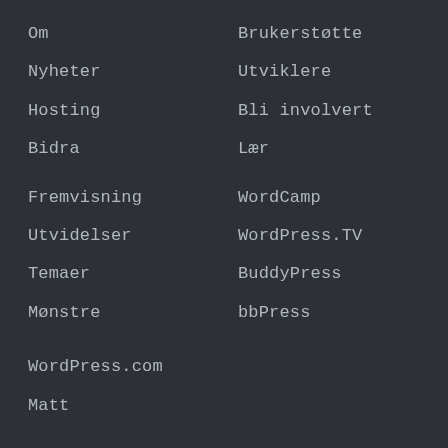Om
Nyheter
Hosting
Bidra
Brukerstøtte
Utviklere
Bli involvert
Lær
Fremvisning
Utvidelser
Temaer
Mønstre
WordCamp
WordPress.TV
BuddyPress
bbPress
WordPress.com
Matt